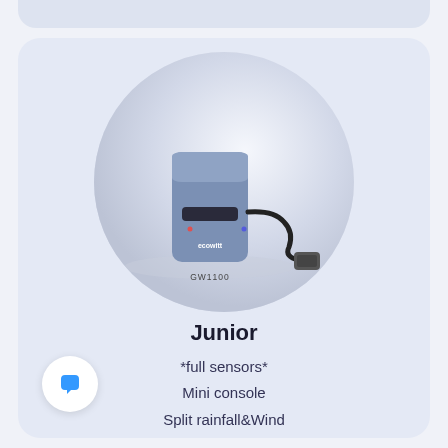[Figure (photo): Ecowitt GW1100 mini console device with a connected sensor cable. Device is blue-grey colored with 'ecowitt' branding, shown inside a circular light background.]
Junior
*full sensors*
Mini console
Split rainfall&Wind
Ultrasonic